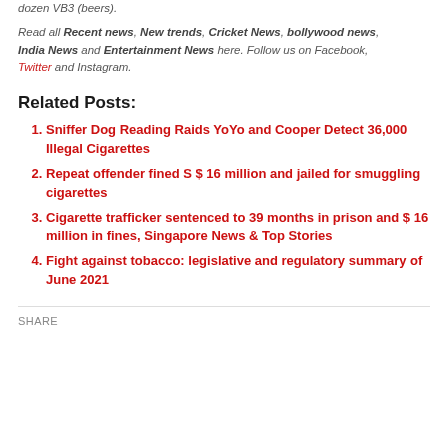dozen VB3 (beers).
Read all Recent news, New trends, Cricket News, bollywood news, India News and Entertainment News here. Follow us on Facebook, Twitter and Instagram.
Related Posts:
Sniffer Dog Reading Raids YoYo and Cooper Detect 36,000 Illegal Cigarettes
Repeat offender fined S $ 16 million and jailed for smuggling cigarettes
Cigarette trafficker sentenced to 39 months in prison and $ 16 million in fines, Singapore News & Top Stories
Fight against tobacco: legislative and regulatory summary of June 2021
SHARE